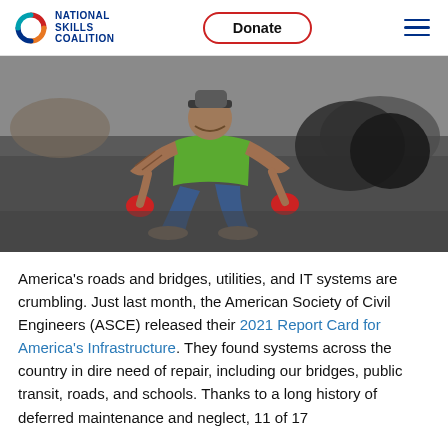National Skills Coalition — Donate (button) — Menu (hamburger)
[Figure (photo): A construction worker in a green safety vest, plaid shirt, and red gloves crouching down on an asphalt road surface, with heavy equipment and tires visible in the background.]
America's roads and bridges, utilities, and IT systems are crumbling. Just last month, the American Society of Civil Engineers (ASCE) released their 2021 Report Card for America's Infrastructure. They found systems across the country in dire need of repair, including our bridges, public transit, roads, and schools. Thanks to a long history of deferred maintenance and neglect, 11 of 17